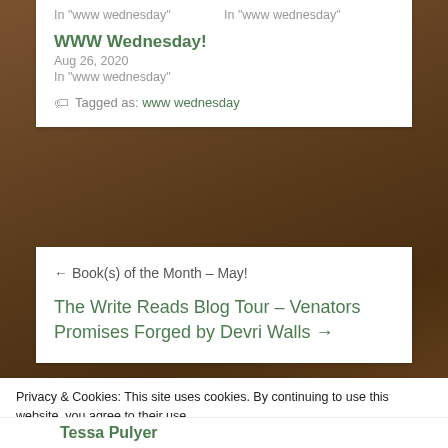In "www wednesday"    In "www wednesday"
WWW Wednesday!
Aug 26, 2020
In "www wednesday"
Tagged as: www wednesday
← Book(s) of the Month – May!
The Write Reads Blog Tour – Venators Promises Forged by Devri Walls →
Privacy & Cookies: This site uses cookies. By continuing to use this website, you agree to their use.
To find out more, including how to control cookies, see here: Cookie Policy
Close and accept
Tessa Pulyer